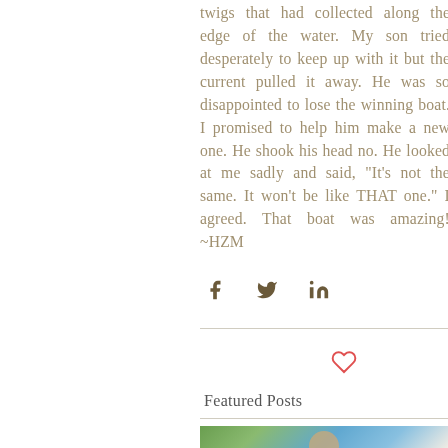twigs that had collected along the edge of the water. My son tried desperately to keep up with it but the current pulled it away. He was so disappointed to lose the winning boat. I promised to help him make a new one. He shook his head no. He looked at me sadly and said, "It's not the same. It won't be like THAT one." I agreed. That boat was amazing! ~HZM
[Figure (other): Social media share icons: Facebook (f), Twitter (bird), LinkedIn (in)]
[Figure (other): Heart/like icon outline in red/salmon color]
Featured Posts
[Figure (photo): Photo of a boy wearing a blue polo shirt and green backpack, standing outdoors near green bushes and a white building]